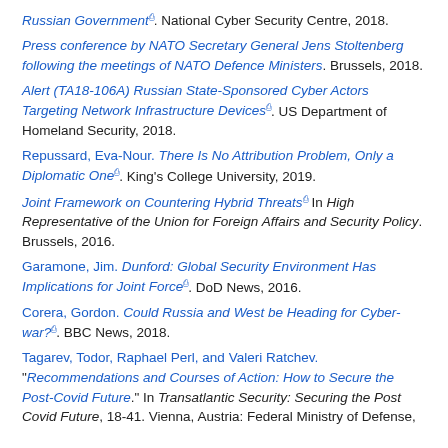Russian Government. National Cyber Security Centre, 2018.
Press conference by NATO Secretary General Jens Stoltenberg following the meetings of NATO Defence Ministers. Brussels, 2018.
Alert (TA18-106A) Russian State-Sponsored Cyber Actors Targeting Network Infrastructure Devices. US Department of Homeland Security, 2018.
Repussard, Eva-Nour. There Is No Attribution Problem, Only a Diplomatic One. King's College University, 2019.
Joint Framework on Countering Hybrid Threats In High Representative of the Union for Foreign Affairs and Security Policy. Brussels, 2016.
Garamone, Jim. Dunford: Global Security Environment Has Implications for Joint Force. DoD News, 2016.
Corera, Gordon. Could Russia and West be Heading for Cyber-war?. BBC News, 2018.
Tagarev, Todor, Raphael Perl, and Valeri Ratchev. "Recommendations and Courses of Action: How to Secure the Post-Covid Future." In Transatlantic Security: Securing the Post Covid Future, 18-41. Vienna, Austria: Federal Ministry of Defense,